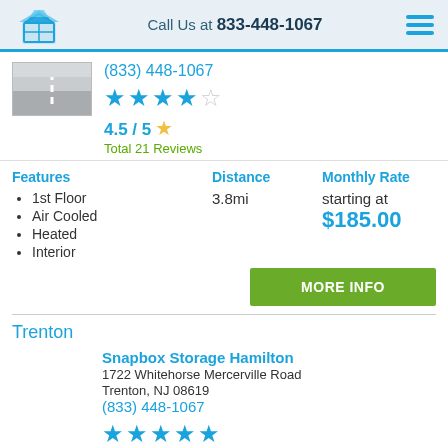Call Us at 833-448-1067
(833) 448-1067
4.5 / 5
Total 21 Reviews
Features
1st Floor
Air Cooled
Heated
Interior
Distance
3.8mi
Monthly Rate
starting at
$185.00
MORE INFO
Trenton
Snapbox Storage Hamilton
1722 Whitehorse Mercerville Road
Trenton, NJ 08619
(833) 448-1067
5 / 5
Total 11 Reviews
Features
Distance
12.8mi
Monthly Rate
starting at